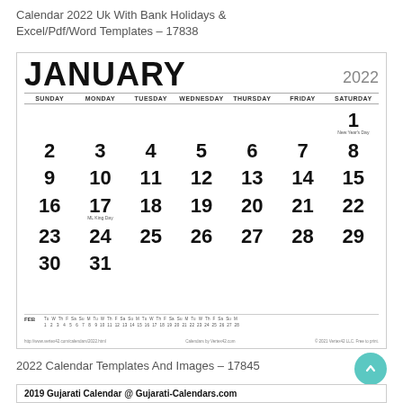Calendar 2022 Uk With Bank Holidays &amp; Excel/Pdf/Word Templates – 17838
[Figure (other): January 2022 calendar with days, dates, and holidays including New Year's Day on Jan 1 and MLK Day on Jan 17. Mini February calendar at the bottom.]
2022 Calendar Templates And Images – 17845
2019 Gujarati Calendar @ Gujarati-Calendars.com